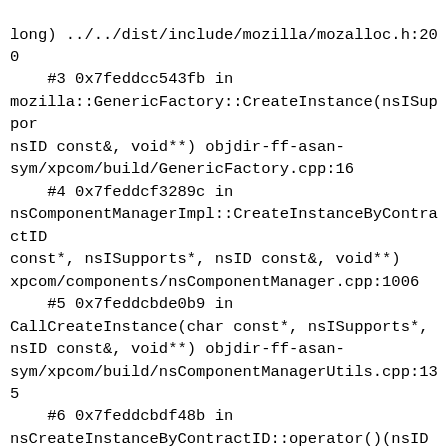long) ../../dist/include/mozilla/mozalloc.h:200
    #3 0x7feddcc543fb in
mozilla::GenericFactory::CreateInstance(nsISupports*, nsID const&, void**) objdir-ff-asan-sym/xpcom/build/GenericFactory.cpp:16
    #4 0x7feddcf3289c in
nsComponentManagerImpl::CreateInstanceByContractID(char const*, nsISupports*, nsID const&, void**)
xpcom/components/nsComponentManager.cpp:1006
    #5 0x7feddcbde0b9 in
CallCreateInstance(char const*, nsISupports*,
nsID const&, void**) objdir-ff-asan-sym/xpcom/build/nsComponentManagerUtils.cpp:135
    #6 0x7feddcbdf48b in
nsCreateInstanceByContractID::operator()(nsID
const&, void**) const objdir-ff-asan-sym/xpcom/build/nsComponentManagerUtils.cpp:178
    #7 0x7feddcbd2ddc in
nsCOMPtr_base::assign_from_helper(nsCOMPtr_helper
const&, nsID const&) objdir-ff-asan-